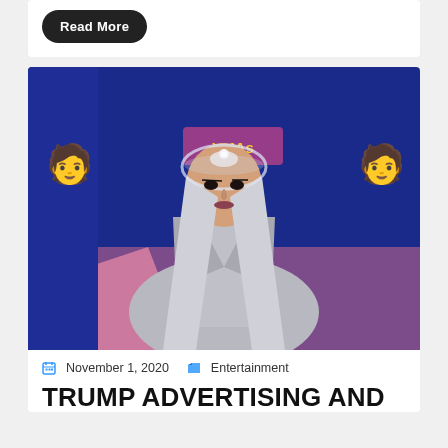Read More
[Figure (photo): Celebrity at MTV VMAs wearing silver metallic outfit and long silver hair with clear visor headpiece, posing against a blue and purple branded backdrop with green figure graphics]
November 1, 2020   Entertainment
TRUMP ADVERTISING AND